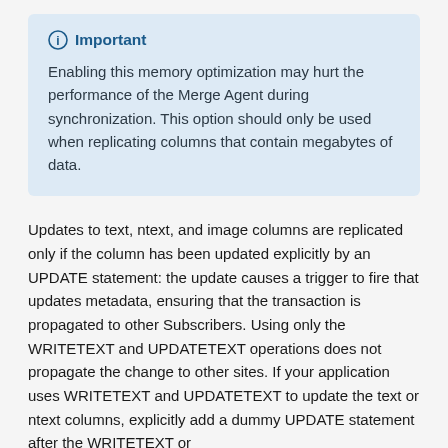Important

Enabling this memory optimization may hurt the performance of the Merge Agent during synchronization. This option should only be used when replicating columns that contain megabytes of data.
Updates to text, ntext, and image columns are replicated only if the column has been updated explicitly by an UPDATE statement: the update causes a trigger to fire that updates metadata, ensuring that the transaction is propagated to other Subscribers. Using only the WRITETEXT and UPDATETEXT operations does not propagate the change to other sites. If your application uses WRITETEXT and UPDATETEXT to update the text or ntext columns, explicitly add a dummy UPDATE statement after the WRITETEXT or